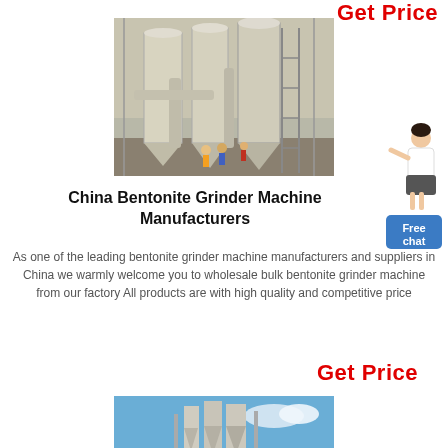Get Price
[Figure (photo): Industrial bentonite grinder machine with large cylindrical silos and pipes inside a factory building, workers visible in background]
[Figure (photo): Customer service representative pointing, with Free chat button]
China Bentonite Grinder Machine Manufacturers
As one of the leading bentonite grinder machine manufacturers and suppliers in China we warmly welcome you to wholesale bulk bentonite grinder machine from our factory All products are with high quality and competitive price
Get Price
[Figure (photo): Outdoor photo of bentonite grinder machine equipment against blue sky]